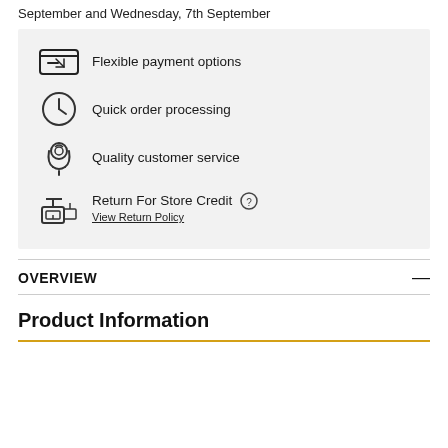September and Wednesday, 7th September
Flexible payment options
Quick order processing
Quality customer service
Return For Store Credit  View Return Policy
OVERVIEW
Product Information